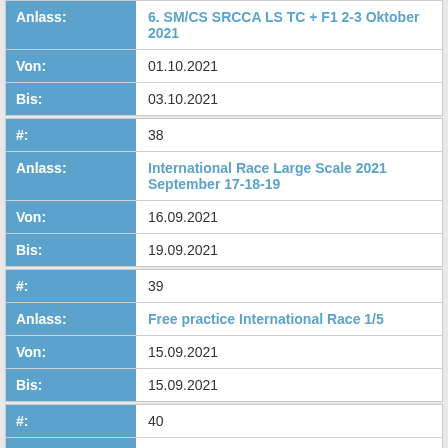| Field | Value |
| --- | --- |
| Anlass: | 6. SM/CS SRCCA LS TC + F1 2-3 Oktober 2021 |
| Von: | 01.10.2021 |
| Bis: | 03.10.2021 |
| #: | 38 |
| Anlass: | International Race Large Scale 2021 September 17-18-19 |
| Von: | 16.09.2021 |
| Bis: | 19.09.2021 |
| #: | 39 |
| Anlass: | Free practice International Race 1/5 |
| Von: | 15.09.2021 |
| Bis: | 15.09.2021 |
| #: | 40 |
| Anlass: | Free Practice 24h Lostallo |
| Von: | 11.09.2021 |
| Bis: | 11.09.2021 |